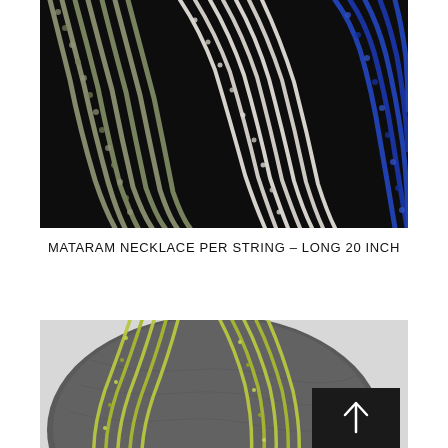[Figure (photo): Close-up photo of multiple strands of bead necklaces laid on a black background. Left side shows sage/olive green matte beads, center shows white/cream beads, and right side shows bright blue beads.]
MATARAM NECKLACE PER STRING – LONG 20 INCH
[Figure (photo): Photo of multiple strands of lime/yellow-green metallic bead necklaces laid on a round dark gray slate/stone plate. A dark back-to-top button with an upward arrow is visible in the lower right.]